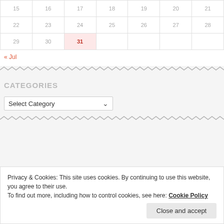| 15 | 16 | 17 | 18 | 19 | 20 | 21 |
| 22 | 23 | 24 | 25 | 26 | 27 | 28 |
| 29 | 30 | 31 |  |  |  |  |
« Jul
CATEGORIES
Select Category
Privacy & Cookies: This site uses cookies. By continuing to use this website, you agree to their use.
To find out more, including how to control cookies, see here: Cookie Policy
Close and accept